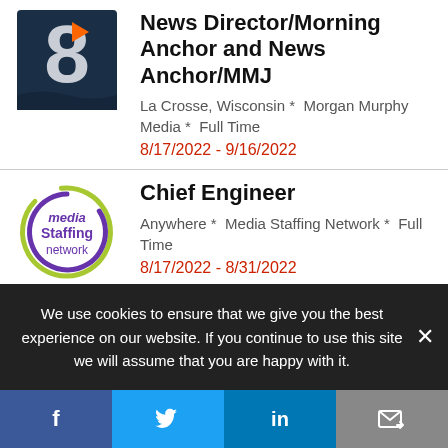[Figure (logo): GOLO or broadcast network logo — dark navy blue square with stylized white '8' letter and orange play button triangle]
News Director/Morning Anchor and News Anchor/MMJ
La Crosse, Wisconsin *  Morgan Murphy Media *  Full Time
8/17/2022 - 9/16/2022
[Figure (logo): Media Staffing Network logo — circular design with lime green and purple swooshes, text 'media Staffing network' in purple]
Chief Engineer
Anywhere *  Media Staffing Network *  Full Time
8/17/2022 - 8/31/2022
Florical Technical Services
We use cookies to ensure that we give you the best experience on our website. If you continue to use this site we will assume that you are happy with it.
Facebook  Twitter  LinkedIn  Email